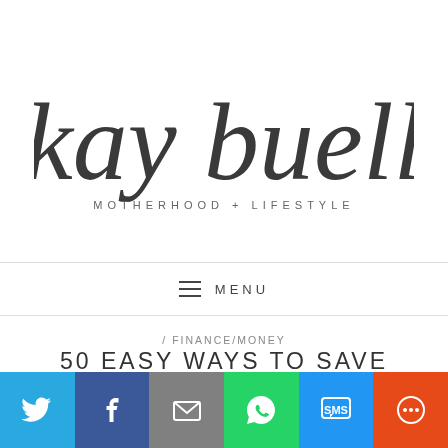[Figure (logo): Kay Buell blog logo — hand-lettered cursive script 'kay buell' with subtitle 'MOTHERHOOD + LIFESTYLE' in spaced uppercase sans-serif]
≡ MENU
/ FINANCE/MONEY
50 EASY WAYS TO SAVE MONEY
[Figure (infographic): Social share bar with six colored buttons: Twitter (blue), Facebook (dark blue), Email (gray), WhatsApp (green), SMS (blue), More/share (orange-red)]